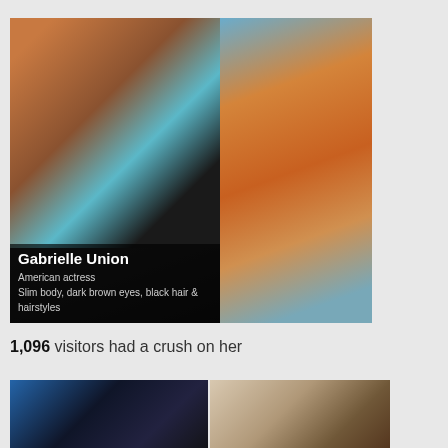[Figure (photo): Two photos of Gabrielle Union side by side: left photo shows her smiling in a teal/turquoise top, right photo shows her in an orange bikini at the beach]
Gabrielle Union
American actress
Slim body, dark brown eyes, black hair & hairstyles
1,096 visitors had a crush on her
[Figure (photo): Two photos of another woman: left photo shows her at an event with dark hair against a blue background, right photo shows her posing with her hand in her hair]